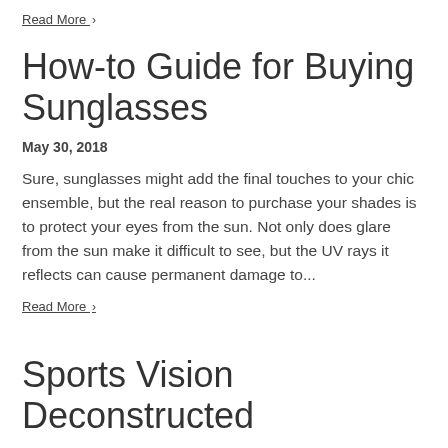Read More ›
How-to Guide for Buying Sunglasses
May 30, 2018
Sure, sunglasses might add the final touches to your chic ensemble, but the real reason to purchase your shades is to protect your eyes from the sun. Not only does glare from the sun make it difficult to see, but the UV rays it reflects can cause permanent damage to...
Read More ›
Sports Vision Deconstructed
May 10, 2018
Vision is a critical component to succeed as an athlete and this doesn't just mean having 20/20 vision. There are a number of visual processes that are involved in optimal sports performance.